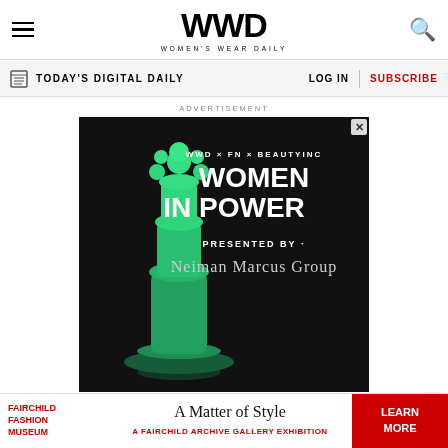WWD WOMEN'S WEAR DAILY
TODAY'S DIGITAL DAILY | LOG IN | SUBSCRIBE
ADVERTISEMENT
[Figure (illustration): WWD Women in Power advertisement featuring a green chess queen piece on black background. Text: WWD × FN × BEAUTYINC WOMEN IN POWER PRESENTED BY Neiman Marcus Group. September 13, Current, Pier 59, NY. Register button.]
[Figure (illustration): Fairchild Fashion Museum banner ad: A Matter of Style - A Fairchild Archive Gallery Exhibition. Learn More button.]